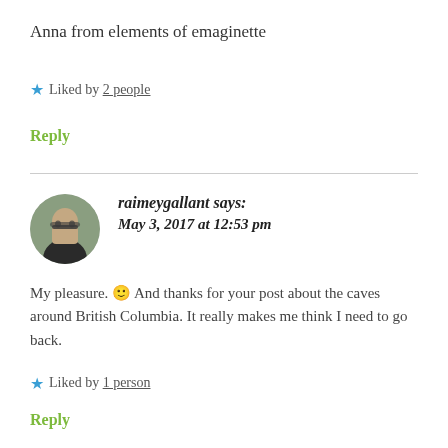Anna from elements of emaginette
★ Liked by 2 people
Reply
raimeygallant says: May 3, 2017 at 12:53 pm
My pleasure. 🙂 And thanks for your post about the caves around British Columbia. It really makes me think I need to go back.
★ Liked by 1 person
Reply